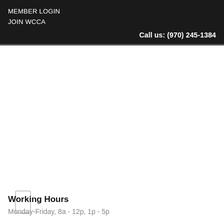MEMBER LOGIN
JOIN WCCA
Call us: (970) 245-1384
[Figure (other): Small placeholder icon/image outline, light gray border, rectangular shape]
Working Hours
Monday-Friday, 8a - 12p, 1p - 5p